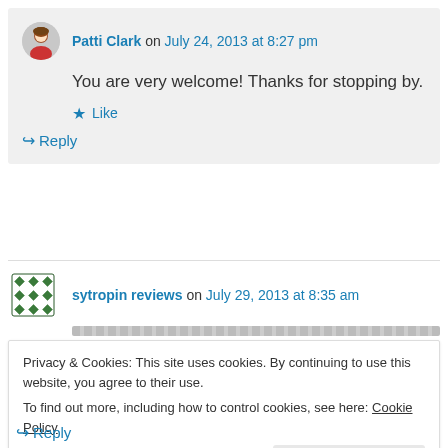Patti Clark on July 24, 2013 at 8:27 pm
You are very welcome! Thanks for stopping by.
Like
Reply
sytropin reviews on July 29, 2013 at 8:35 am
Privacy & Cookies: This site uses cookies. By continuing to use this website, you agree to their use.
To find out more, including how to control cookies, see here: Cookie Policy
Close and accept
Reply